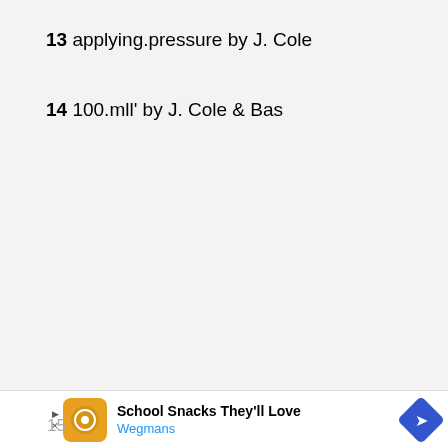13 applying.pressure by J. Cole
14 100.mll' by J. Cole & Bas
15
[Figure (other): Advertisement banner: School Snacks They'll Love - Wegmans, with orange logo icon and blue diamond arrow.]